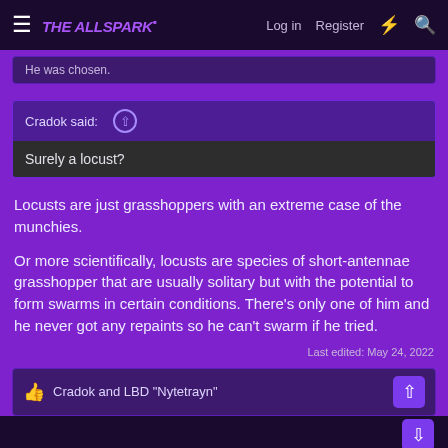THE ALLSPARK | Log in | Register
He was chosen.
Cradok said: ↑
Surely a locust?
Locusts are just grasshoppers with an extreme case of the munchies.
Or more scientifically, locusts are species of short-antennae grasshopper that are usually solitary but with the potential to form swarms in certain conditions. There's only one of him and he never got any repaints so he can't swarm if he tried.
Last edited: May 24, 2022
Cradok and LBD "Nytetrayn"
Cradok
Active member  Citizen